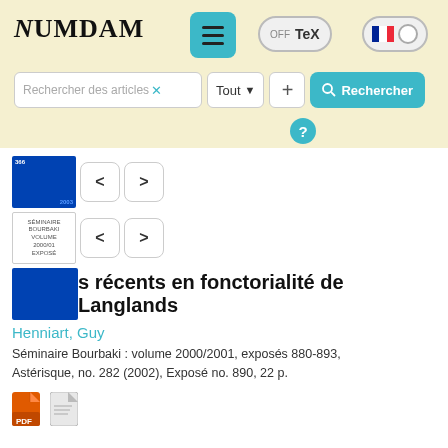[Figure (screenshot): Numdam website header with logo, menu button, TeX toggle, and French flag/language toggle]
[Figure (screenshot): Search bar with 'Rechercher des articles' input, 'Tout' dropdown, plus button, and teal 'Rechercher' button with help circle]
[Figure (illustration): Book cover thumbnails with navigation arrows (left/right) for browsing journal volumes]
s récents en fonctorialité de Langlands
Henniart, Guy
Séminaire Bourbaki : volume 2000/2001, exposés 880-893, Astérisque, no. 282 (2002), Exposé no. 890, 22 p.
[Figure (illustration): PDF and other document format icons at bottom of article listing]